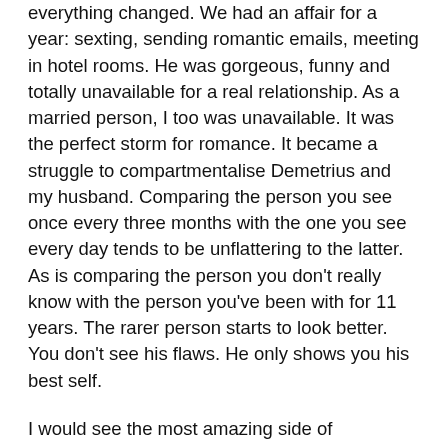everything changed. We had an affair for a year: sexting, sending romantic emails, meeting in hotel rooms. He was gorgeous, funny and totally unavailable for a real relationship. As a married person, I too was unavailable. It was the perfect storm for romance. It became a struggle to compartmentalise Demetrius and my husband. Comparing the person you see once every three months with the one you see every day tends to be unflattering to the latter. As is comparing the person you don't really know with the person you've been with for 11 years. The rarer person starts to look better. You don't see his flaws. He only shows you his best self.
I would see the most amazing side of Demetrius in a fantasy bubble that we constructed. Then he was gone again, and in his absence I would imagine an even more amazing Demetrius. I questioned why what